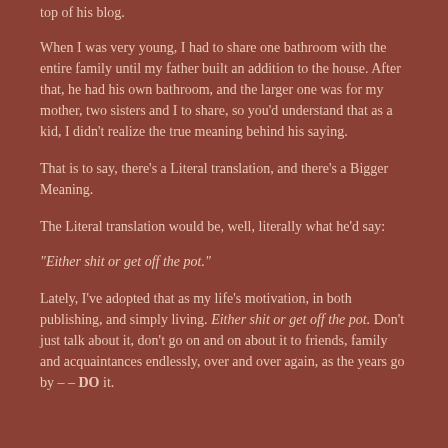top of his blog.
When I was very young, I had to share one bathroom with the entire family until my father built an addition to the house. After that, he had his own bathroom, and the larger one was for my mother, two sisters and I to share, so you'd understand that as a kid, I didn't realize the true meaning behind his saying.
That is to say, there's a Literal translation, and there's a Bigger Meaning.
The Literal translation would be, well, literally what he'd say:
"Either shit or get off the pot."
Lately, I've adopted that as my life's motivation, in both publishing, and simply living. Either shit or get off the pot. Don't just talk about it, don't go on and on about it to friends, family and acquaintances endlessly, over and over again, as the years go by – – DO it.